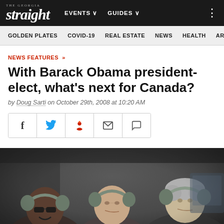The Georgia Straight - EVENTS - GUIDES
GOLDEN PLATES | COVID-19 | REAL ESTATE | NEWS | HEALTH | ARTS
NEWS FEATURES »
With Barack Obama president-elect, what's next for Canada?
by Doug Sarti on October 29th, 2008 at 10:20 AM
[Figure (photo): Three men wearing military headsets/headphones sitting inside what appears to be a military helicopter or aircraft. The man on the left is wearing sunglasses and smiling.]